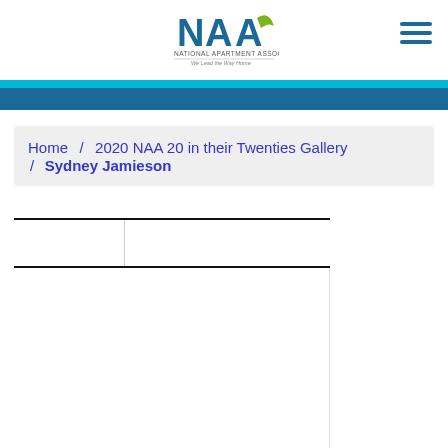NAA - National Apartment Association - We Lead the Way Home
Home / 2020 NAA 20 in their Twenties Gallery / Sydney Jamieson
[Figure (other): Content area with table-like layout containing two columns, mostly blank white space below navigation header rows]